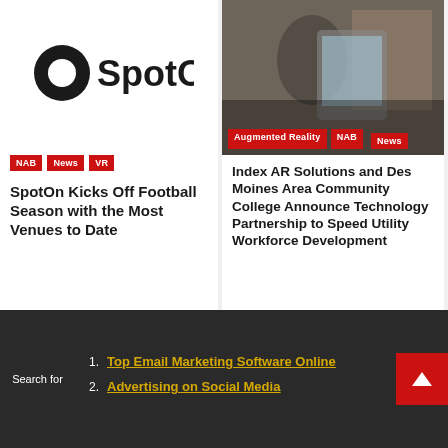[Figure (logo): SpotOn logo — black ring icon with 'SpotOn' text in bold black]
NAB | News | VR
SpotOn Kicks Off Football Season with the Most Venues to Date
[Figure (photo): Person holding a tablet showing an augmented reality interface. Labels: Augmented Reality, NAB, News]
Index AR Solutions and Des Moines Area Community College Announce Technology Partnership to Speed Utility Workforce Development
Search for
1. Top Email Marketing Software Online
2. Advertising on Social Media